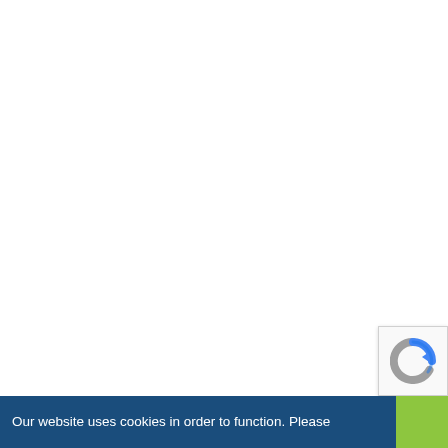[Figure (other): reCAPTCHA widget icon showing the circular arrow logo in blue and grey, positioned in the bottom-right area of the page above the cookie bar]
Our website uses cookies in order to function. Please